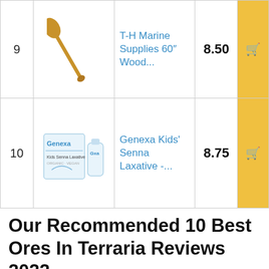| # | Image | Product | Score | Buy |
| --- | --- | --- | --- | --- |
| 9 | [paddle image] | T-H Marine Supplies 60″ Wood... | 8.50 | 🛒 |
| 10 | [genexa image] | Genexa Kids' Senna Laxative -... | 8.75 | 🛒 |
Our Recommended 10 Best Ores In Terraria Reviews 2022
1. Biagao Speculum Original Medium Stainless Steel